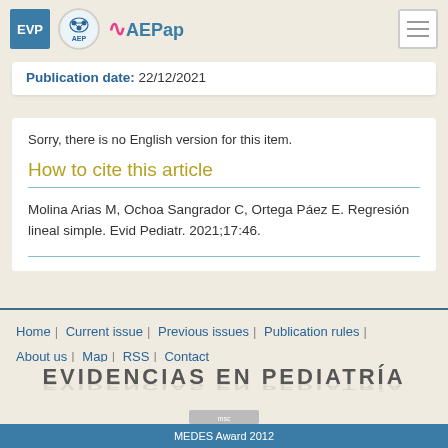EVP | AEP | AEPap
Publication date: 22/12/2021
Sorry, there is no English version for this item.
How to cite this article
Molina Arias M, Ochoa Sangrador C, Ortega Páez E. Regresión lineal simple. Evid Pediatr. 2021;17:46.
Home | Current issue | Previous issues | Publication rules | About us | Map | RSS | Contact
EVIDENCIAS EN PEDIATRÍA
MEDES Award 2012